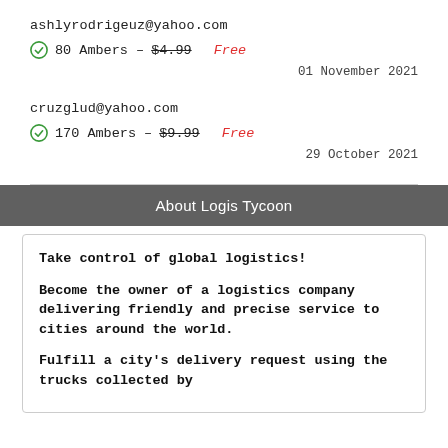ashlyrodrigeuz@yahoo.com
80 Ambers – $4.99 Free
01 November 2021
cruzglud@yahoo.com
170 Ambers – $9.99 Free
29 October 2021
About Logis Tycoon
Take control of global logistics!
Become the owner of a logistics company delivering friendly and precise service to cities around the world.
Fulfill a city's delivery request using the trucks collected by